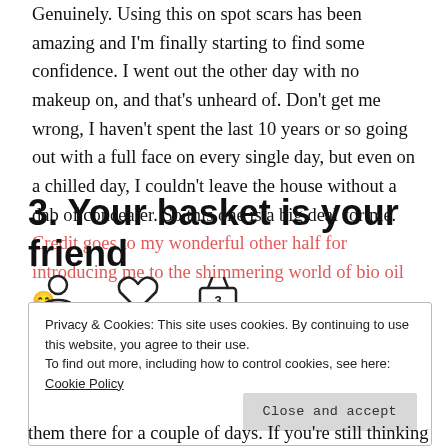Genuinely. Using this on spot scars has been amazing and I'm finally starting to find some confidence. I went out the other day with no makeup on, and that's unheard of. Don't get me wrong, I haven't spent the last 10 years or so going out with a full face on every single day, but even on a chilled day, I couldn't leave the house without a dab of concealer. So this one is a big deal for me. Credit goes to my wonderful other half for introducing me to the shimmering world of bio oil😊
3. Your basket is your friend
[Figure (illustration): Three icons: a person/account icon, a heart/wishlist icon, and a shopping basket with number 3]
Privacy & Cookies: This site uses cookies. By continuing to use this website, you agree to their use. To find out more, including how to control cookies, see here: Cookie Policy   Close and accept
them there for a couple of days. If you're still thinking about them